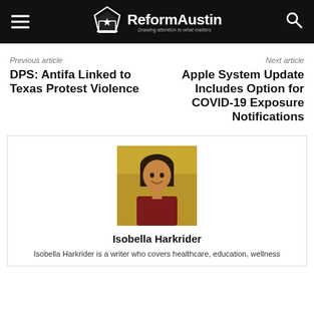ReformAustin — Drawing attention to what matters
Previous article
DPS: Antifa Linked to Texas Protest Violence
Next article
Apple System Update Includes Option for COVID-19 Exposure Notifications
[Figure (photo): Headshot of Isobella Harkrider, a woman smiling, wearing a dark red top, with a blurred yellow-green background.]
Isobella Harkrider
Isobella Harkrider is a writer who covers healthcare, education, wellness